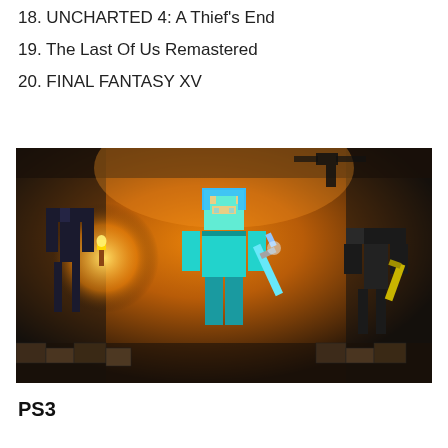18. UNCHARTED 4: A Thief's End
19. The Last Of Us Remastered
20. FINAL FANTASY XV
[Figure (illustration): Minecraft Story Mode style artwork showing the main character in diamond armor holding a diamond sword, facing off against dark blocky creatures in a cave environment with warm orange lighting and torches.]
PS3